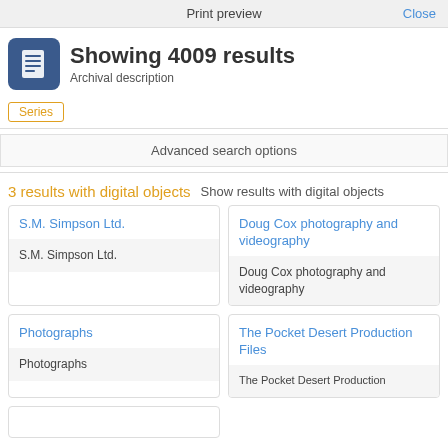Print preview
Showing 4009 results
Archival description
Series
Advanced search options
3 results with digital objects   Show results with digital objects
S.M. Simpson Ltd.
S.M. Simpson Ltd.
Doug Cox photography and videography
Doug Cox photography and videography
Photographs
Photographs
The Pocket Desert Production Files
The Pocket Desert Production